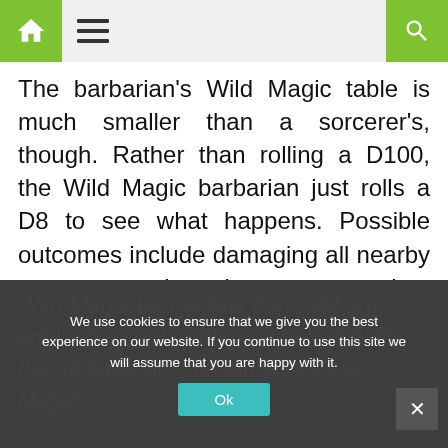Navigation bar with home icon, hamburger menu, and search icon
The barbarian’s Wild Magic table is much smaller than a sorcerer’s, though. Rather than rolling a D100, the Wild Magic barbarian just rolls a D8 to see what happens. Possible outcomes include damaging all nearby creatures, teleporting to a random space within 30 feet, or summoning a random nature spirit that explodes.
Wild Magic barbarians don’t get any spells per se, but they do get an ability that is basically the same as Detect Magic.
We use cookies to ensure that we give you the best experience on our website. If you continue to use this site we will assume that you are happy with it.